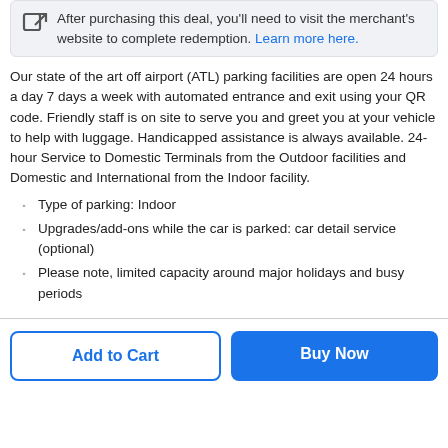After purchasing this deal, you'll need to visit the merchant's website to complete redemption. Learn more here.
Our state of the art off airport (ATL) parking facilities are open 24 hours a day 7 days a week with automated entrance and exit using your QR code. Friendly staff is on site to serve you and greet you at your vehicle to help with luggage. Handicapped assistance is always available. 24-hour Service to Domestic Terminals from the Outdoor facilities and Domestic and International from the Indoor facility.
Type of parking: Indoor
Upgrades/add-ons while the car is parked: car detail service (optional)
Please note, limited capacity around major holidays and busy periods